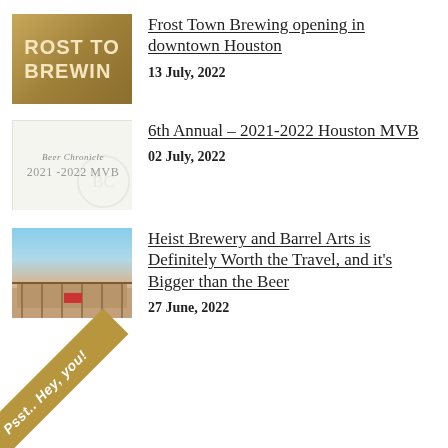[Figure (photo): Frost Town Brewing sign with golden brown wooden letters on brown background]
Frost Town Brewing opening in downtown Houston
13 July, 2022
[Figure (photo): Beer Chronicle 2021-2022 MVB award image on light background]
6th Annual – 2021-2022 Houston MVB
02 July, 2022
[Figure (photo): Heist Brewery and Barrel Arts exterior building photo with blue sky]
Heist Brewery and Barrel Arts is Definitely Worth the Travel, and it's Bigger than the Beer
27 June, 2022